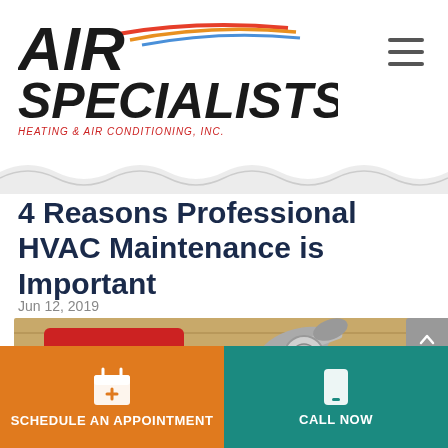[Figure (logo): Air Specialists logo with colored swoosh lines and italic bold text]
4 Reasons Professional HVAC Maintenance is Important
Jun 12, 2019
[Figure (photo): HVAC tools including wrenches and pipe fittings on a wooden surface]
SCHEDULE AN APPOINTMENT
CALL NOW